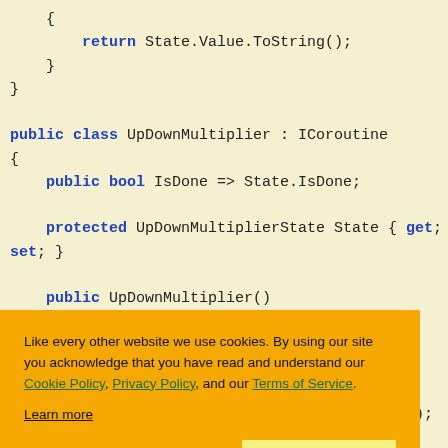{ return State.Value.ToString(); } } public class UpDownMultiplier : ICoroutine { public bool IsDone => State.IsDone; protected UpDownMultiplierState State { get; set; } public UpDownMultiplier() ...tate(); ...Counter == 5 ...ection; }
Like every other website we use cookies. By using our site you acknowledge that you have read and understand our Cookie Policy, Privacy Policy, and our Terms of Service. Learn more
Ask me later | Decline | Allow cookies